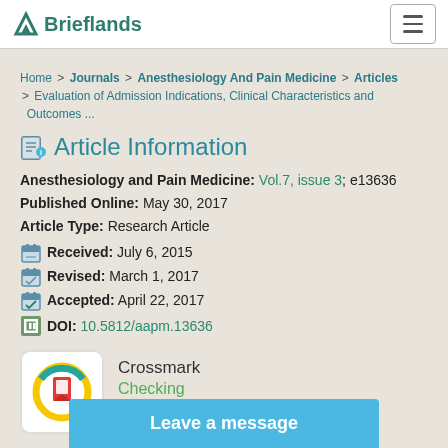Brieflands
Home > Journals > Anesthesiology And Pain Medicine > Articles > Evaluation of Admission Indications, Clinical Characteristics and Outcomes ...
Article Information
Anesthesiology and Pain Medicine: Vol.7, issue 3; e13636
Published Online: May 30, 2017
Article Type: Research Article
Received: July 6, 2015
Revised: March 1, 2017
Accepted: April 22, 2017
DOI: 10.5812/aapm.13636
[Figure (logo): Crossmark logo badge with circular design in teal, yellow, and red]
Crossmark
Checking
Leave a message